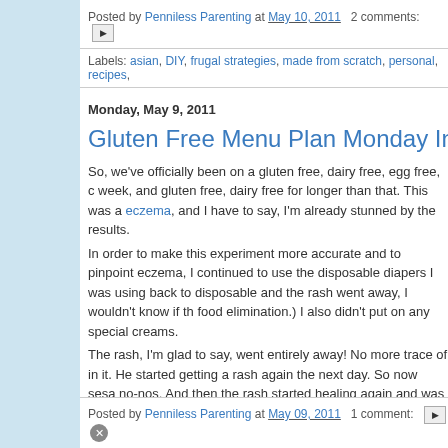Posted by Penniless Parenting at May 10, 2011   2 comments:
Labels: asian, DIY, frugal strategies, made from scratch, personal, recipes,
Monday, May 9, 2011
Gluten Free Menu Plan Monday In Re
So, we've officially been on a gluten free, dairy free, egg free, c week, and gluten free, dairy free for longer than that. This was a eczema, and I have to say, I'm already stunned by the results. In order to make this experiment more accurate and to pinpoint eczema, I continued to use the disposable diapers I was using back to disposable and the rash went away, I wouldn't know if th food elimination.) I also didn't put on any special creams. The rash, I'm glad to say, went entirely away! No more trace of in it. He started getting a rash again the next day. So now sesa no-nos. And then the rash started healing again and was mostl Mikes pita pizza that he brought home (gluten, dairy AND toma Fortunately he just had a bite or two of the pizza, so the rash di It's amazing to see what a difference the food we eat makes to
Read more »
Posted by Penniless Parenting at May 09, 2011   1 comment: